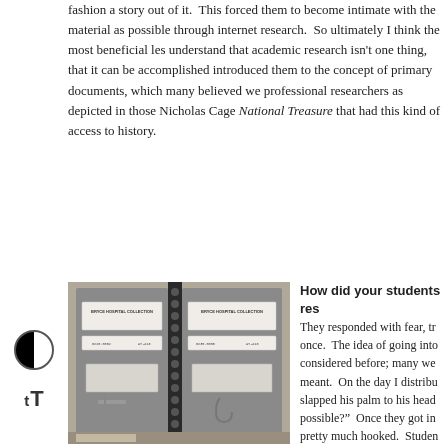fashion a story out of it.  This forced them to become intimate with the material as possible through internet research.  So ultimately I think the most beneficial les understand that academic research isn't one thing, that it can be accomplished introduced them to the concept of primary documents, which many believed we professional researchers as depicted in those Nicholas Cage National Treasure that had this kind of access to history.
[Figure (photo): Photograph of archival boxes labeled 'BRYCE HOSPITAL COLLECTION' with catalog numbers, stored in a box. Two grey acid-free folders/binders visible side by side with labels and catalog numbers.]
How did your students res
They responded with fear, tr once.  The idea of going into considered before; many we meant.  On the day I distribu slapped his palm to his head possible?"  Once they got in pretty much hooked.  Studen them about the documents th began sharing stories in clas they'd read in their century-o they were still anxious abou this material.  But they gene the process of discovery, an